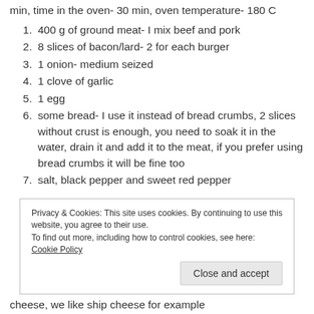min, time in the oven- 30 min, oven temperature- 180 C
400 g of ground meat- I mix beef and pork
8 slices of bacon/lard- 2 for each burger
1 onion- medium seized
1 clove of garlic
1 egg
some bread- I use it instead of bread crumbs, 2 slices without crust is enough, you need to soak it in the water, drain it and add it to the meat, if you prefer using bread crumbs it will be fine too
salt, black pepper and sweet red pepper
Privacy & Cookies: This site uses cookies. By continuing to use this website, you agree to their use.
To find out more, including how to control cookies, see here: Cookie Policy
cheese, we like ship cheese for example